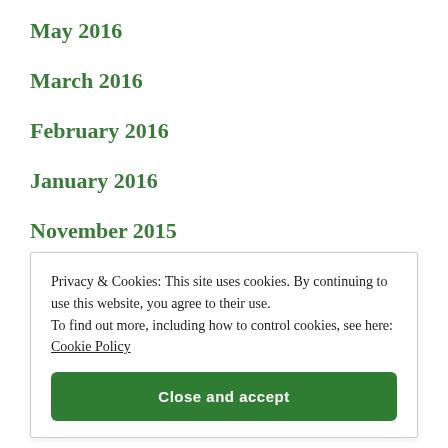May 2016
March 2016
February 2016
January 2016
November 2015
Privacy & Cookies: This site uses cookies. By continuing to use this website, you agree to their use.
To find out more, including how to control cookies, see here: Cookie Policy
Close and accept